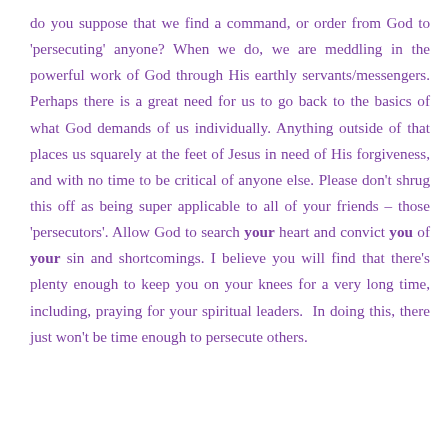do you suppose that we find a command, or order from God to 'persecuting' anyone? When we do, we are meddling in the powerful work of God through His earthly servants/messengers. Perhaps there is a great need for us to go back to the basics of what God demands of us individually. Anything outside of that places us squarely at the feet of Jesus in need of His forgiveness, and with no time to be critical of anyone else. Please don't shrug this off as being super applicable to all of your friends – those 'persecutors'. Allow God to search your heart and convict you of your sin and shortcomings. I believe you will find that there's plenty enough to keep you on your knees for a very long time, including, praying for your spiritual leaders. In doing this, there just won't be time enough to persecute others.